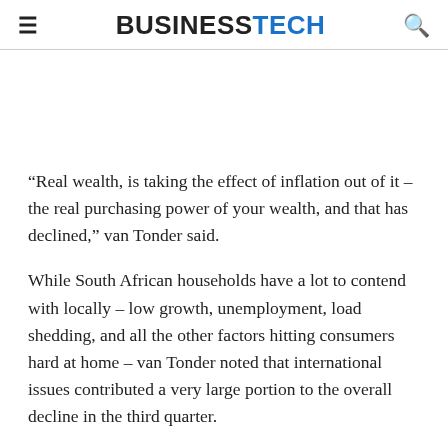BUSINESSTECH
“Real wealth, is taking the effect of inflation out of it – the real purchasing power of your wealth, and that has declined,” van Tonder said.
While South African households have a lot to contend with locally – low growth, unemployment, load shedding, and all the other factors hitting consumers hard at home – van Tonder noted that international issues contributed a very large portion to the overall decline in the third quarter.